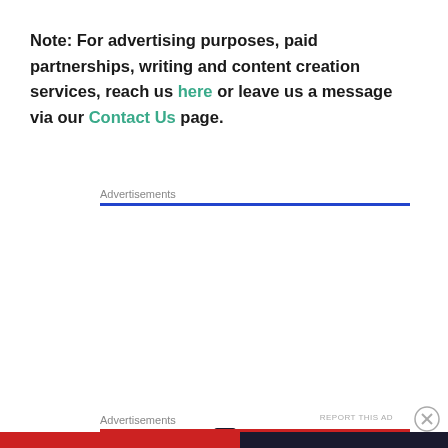Note: For advertising purposes, paid partnerships, writing and content creation services, reach us here or leave us a message via our Contact Us page.
Advertisements
[Figure (infographic): Pressable advertisement: logo with 'P' icon, dots row, headline 'The Platform Where WordPress Works Best', blue 'SEE PRICING' button]
Advertisements